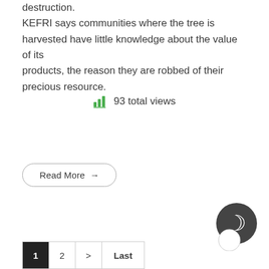destruction. KEFRI says communities where the tree is harvested have little knowledge about the value of its products, the reason they are robbed of their precious resource.
93 total views
Read More →
1 2 > Last